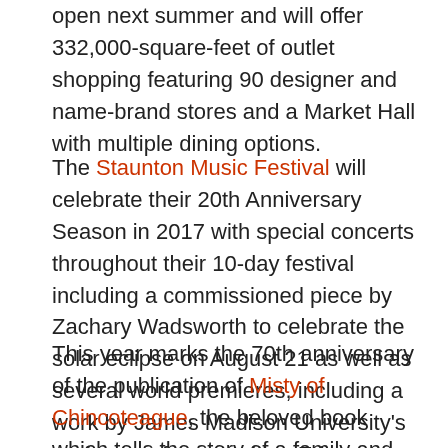open next summer and will offer 332,000-square-feet of outlet shopping featuring 90 designer and name-brand stores and a Market Hall with multiple dining options.
The Staunton Music Festival will celebrate their 20th Anniversary Season in 2017 with special concerts throughout their 10-day festival including a commissioned piece by Zachary Wadsworth to celebrate the solar eclipse on August 21 as well as several world premieres, including a work by James Madison University's professor of composition Eric Guinivan and works by German composer-in- residence Moritz Eggert.
This year marks the 70th anniversary of the publication of Misty of Chincoteague, the beloved book which tells the story of a family and their very special horse from Chincoteague Island, Virginia. That makes 2017 the [continues]